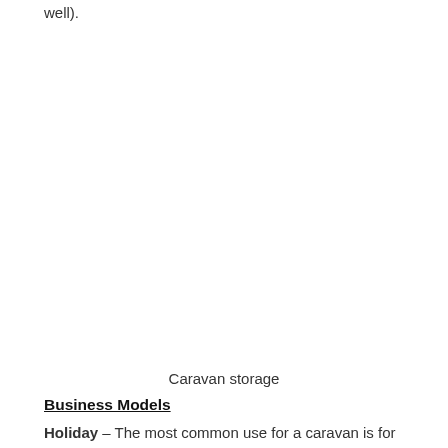well).
Caravan storage
Business Models
Holiday – The most common use for a caravan is for holiday accommodation, from pitching in fields to 5-star caravan facility